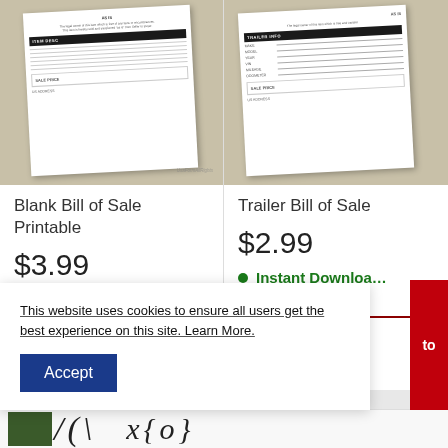[Figure (screenshot): Blank Bill of Sale Printable document preview thumbnail showing a form with ITEM DESC header and SALE PRICE section]
Blank Bill of Sale Printable
$3.99
Instant Download
[Figure (screenshot): Trailer Bill of Sale document preview thumbnail showing a form with TRAILER INFO fields and SALE PRICE section]
Trailer Bill of Sale
$2.99
Instant Download
This website uses cookies to ensure all users get the best experience on this site. Learn More.
Accept
to